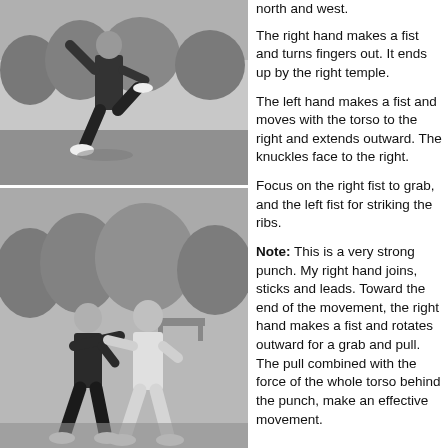[Figure (photo): Black and white photo of a person performing a martial arts stance on grass outdoors, one leg raised.]
[Figure (photo): Black and white photo of two people demonstrating a martial arts technique outdoors on grass with trees in background.]
north and west.
The right hand makes a fist and turns fingers out. It ends up by the right temple.
The left hand makes a fist and moves with the torso to the right and extends outward. The knuckles face to the right.
Focus on the right fist to grab, and the left fist for striking the ribs.
Note: This is a very strong punch. My right hand joins, sticks and leads. Toward the end of the movement, the right hand makes a fist and rotates outward for a grab and pull. The pull combined with the force of the whole torso behind the punch, make an effective movement.